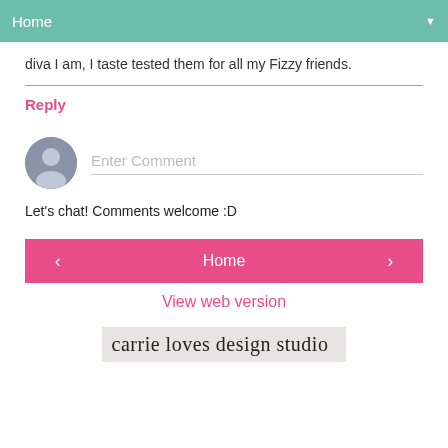Home
diva I am, I taste tested them for all my Fizzy friends.
Reply
[Figure (other): Comment input field with user avatar silhouette and placeholder text 'Enter Comment']
Let's chat! Comments welcome :D
< Home >
View web version
[Figure (logo): carrie loves design studio logo in script font on light gray background]